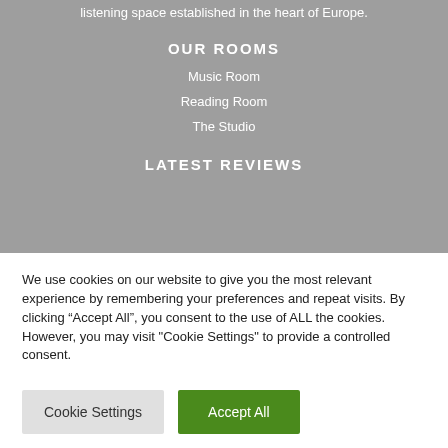listening space established in the heart of Europe.
OUR ROOMS
Music Room
Reading Room
The Studio
LATEST REVIEWS
We use cookies on our website to give you the most relevant experience by remembering your preferences and repeat visits. By clicking “Accept All”, you consent to the use of ALL the cookies. However, you may visit "Cookie Settings" to provide a controlled consent.